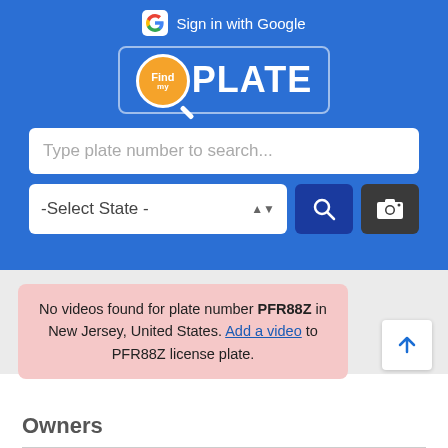[Figure (screenshot): FindMyPlate app header with blue background, Google sign-in button, FindPlate logo with magnifier icon]
Sign in with Google
PLATE
Type plate number to search...
-Select State -
No videos found for plate number PFR88Z in New Jersey, United States. Add a video to PFR88Z license plate.
Owners